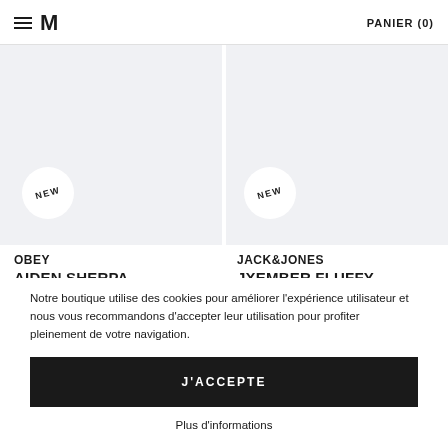≡ M   PANIER (0)
[Figure (photo): Two product cards with light gray background, each with a white circular NEW badge. Left card for OBEY AIDEN SHERPA JACKET, right card for JACK&JONES JXEMBER FLUFFY CREW NECK KNIT.]
OBEY
AIDEN SHERPA JACKET
JACK&JONES
JXEMBER FLUFFY CREW NECK KNIT
Notre boutique utilise des cookies pour améliorer l'expérience utilisateur et nous vous recommandons d'accepter leur utilisation pour profiter pleinement de votre navigation.
J'ACCEPTE
Plus d'informations